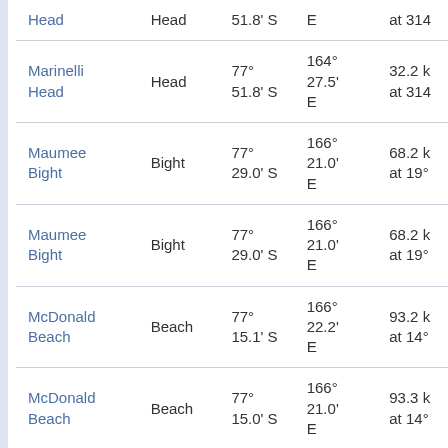| Name | Type | Latitude | Longitude | Distance |
| --- | --- | --- | --- | --- |
| Head | Head | 51.8' S | E | at 314 |
| Marinelli Head | Head | 77° 51.8' S | 164° 27.5' E | 32.2 k at 314 |
| Maumee Bight | Bight | 77° 29.0' S | 166° 21.0' E | 68.2 k at 19° |
| Maumee Bight | Bight | 77° 29.0' S | 166° 21.0' E | 68.2 k at 19° |
| McDonald Beach | Beach | 77° 15.1' S | 166° 22.2' E | 93.2 k at 14° |
| McDonald Beach | Beach | 77° 15.0' S | 166° 21.0' E | 93.3 k at 14° |
| McIntosh Cliffs | Cliff | 78° 32.0' S | 166° 24.0' E | 56.1 k at 158 |
| McIntosh Cliffs | Cliff | 78° 32.0' S | 166° 24.0' E | 56.1 k at 158 |
| McMurdo |  | 77° | 166° 00.0' | 01.6 S |